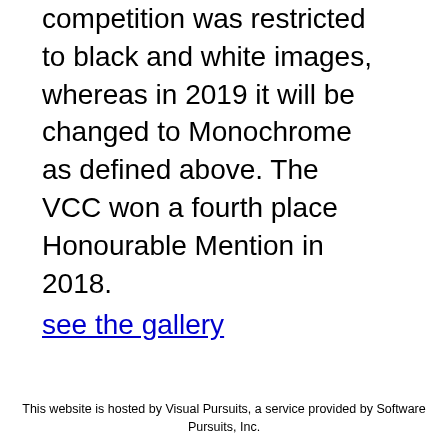In 2018, this competition was restricted to black and white images, whereas in 2019 it will be changed to Monochrome as defined above. The VCC won a fourth place Honourable Mention in 2018. see the gallery
This website is hosted by Visual Pursuits, a service provided by Software Pursuits, Inc.